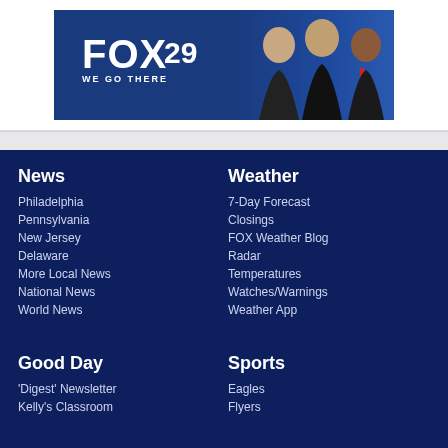[Figure (logo): FOX 29 'WE GO THERE' advertisement banner with news anchors]
News
Philadelphia
Pennsylvania
New Jersey
Delaware
More Local News
National News
World News
Weather
7-Day Forecast
Closings
FOX Weather Blog
Radar
Temperatures
Watches/Warnings
Weather App
Good Day
'Digest' Newsletter
Kelly's Classroom
Sports
Eagles
Flyers